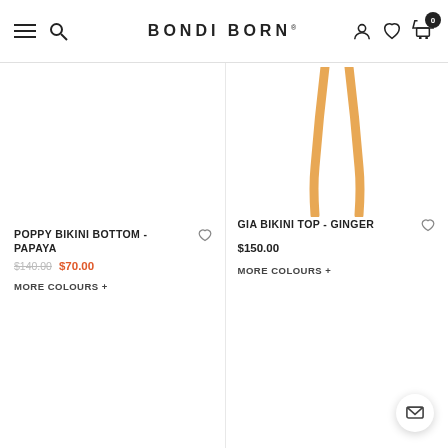BONDI BORN
[Figure (photo): Partial view of Gia Bikini Top in Ginger color — orange/ginger fabric straps visible against white background]
POPPY BIKINI BOTTOM - PAPAYA
$140.00 $70.00
MORE COLOURS +
GIA BIKINI TOP - GINGER
$150.00
MORE COLOURS +